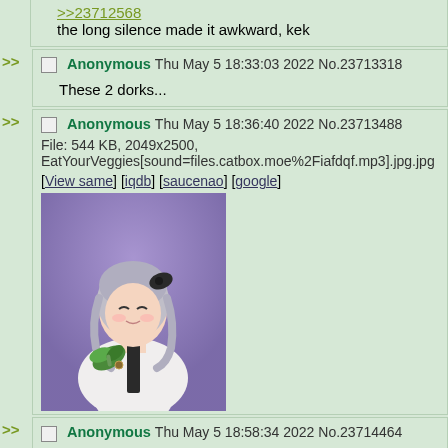>>23712568
the long silence made it awkward, kek
Anonymous Thu May 5 18:33:03 2022 No.23713318
These 2 dorks...
Anonymous Thu May 5 18:36:40 2022 No.23713488
File: 544 KB, 2049x2500, EatYourVeggies[sound=files.catbox.moe%2Fiafdqf.mp3].jpg.jpg
[View same] [iqdb] [saucenao] [google]
[Figure (illustration): Anime girl with grey hair holding green vegetables, eyes closed, wearing white outfit]
Anonymous Thu May 5 18:58:34 2022 No.23714464
i miss her already...
Anonymous Thu May 5 18:58:34 2022 No.23714488 (partial, cut off)